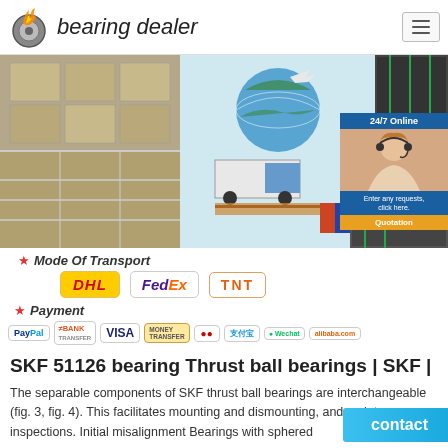bearing dealer
[Figure (photo): Collage of shipping/transport images: warehouse boxes, globe with airplane, stacked tires/goods, and a customer service agent overlay with '24/7 Online' tag, 'Enter any requests, click here.' and 'Quotation' button]
* Mode Of Transport
[Figure (logo): Courier logos: DHL, FedEx, TNT]
* Payment
[Figure (logo): Payment icons: PayPal, Bank Transfer, VISA, Money Transfer, Mastercard, Alipay, Wechat, Alibaba]
SKF 51126 bearing Thrust ball bearings | SKF |
The separable components of SKF thrust ball bearings are interchangeable (fig. 3, fig. 4). This facilitates mounting and dismounting, and maintenance inspections. Initial misalignment Bearings with sphered